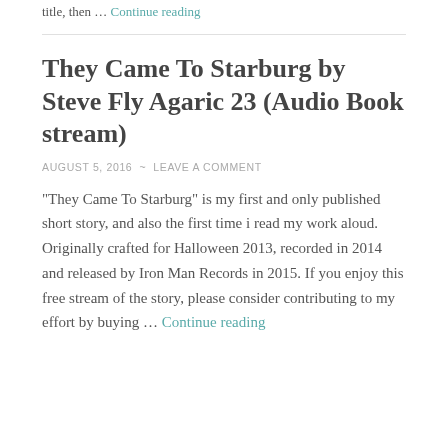title, then … Continue reading
They Came To Starburg by Steve Fly Agaric 23 (Audio Book stream)
AUGUST 5, 2016 ~ LEAVE A COMMENT
"They Came To Starburg" is my first and only published short story, and also the first time i read my work aloud. Originally crafted for Halloween 2013, recorded in 2014 and released by Iron Man Records in 2015. If you enjoy this free stream of the story, please consider contributing to my effort by buying … Continue reading